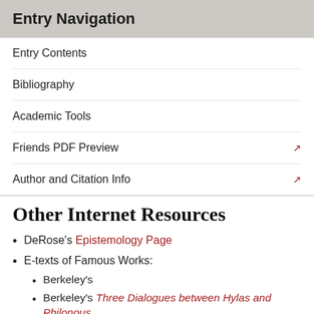Entry Navigation
Entry Contents
Bibliography
Academic Tools
Friends PDF Preview
Author and Citation Info
Other Internet Resources
DeRose's Epistemology Page
E-texts of Famous Works:
Berkeley's
Berkeley's Three Dialogues between Hylas and Philonous
Hume's Enquiry Concerning Human Understanding